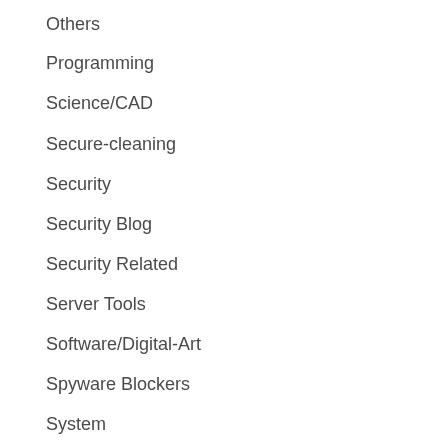Others
Programming
Science/CAD
Secure-cleaning
Security
Security Blog
Security Related
Server Tools
Software/Digital-Art
Spyware Blockers
System